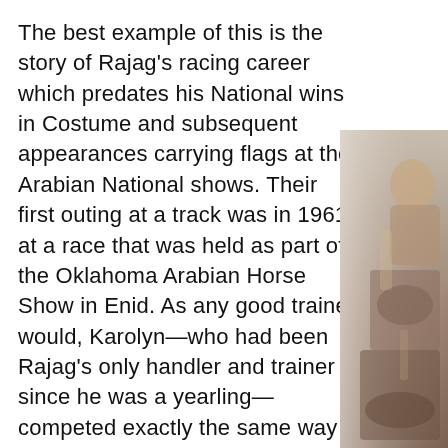The best example of this is the story of Rajag's racing career which predates his National wins in Costume and subsequent appearances carrying flags at the Arabian National shows. Their first outing at a track was in 1961 at a race that was held as part of the Oklahoma Arabian Horse Show in Enid. As any good trainer would, Karolyn—who had been Rajag's only handler and trainer since he was a yearling—competed exactly the same way she trained. Bareback. According to Karolyn there was definitely some ribbing from the other competitors, but no one was laughing when Rajag and Karolyn literally ran away from the field to win by fifty lengths. In 1962 Rajag suffered
[Figure (photo): A partially visible photograph on the right side of the page showing what appears to be a person, likely in an equestrian or riding context, with warm brown and grey tones.]